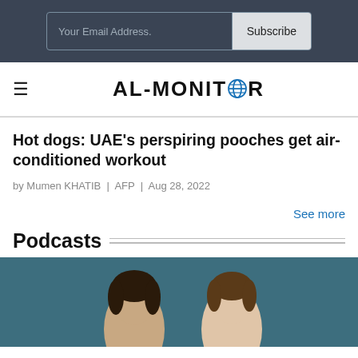Your Email Address. | Subscribe
AL-MONITOR
Hot dogs: UAE's perspiring pooches get air-conditioned workout
by Mumen KHATIB | AFP | Aug 28, 2022
See more
Podcasts
[Figure (photo): Two people appearing in a podcast thumbnail image, cropped at the bottom of the page, on a teal/dark blue background.]